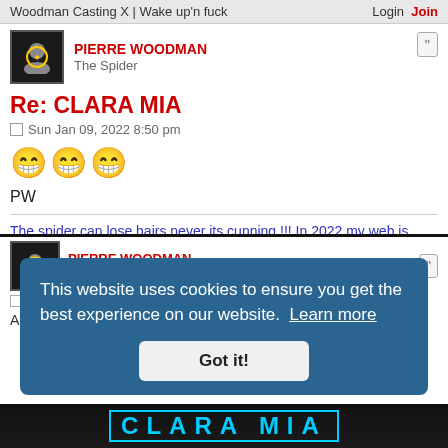Woodman Casting X | Wake up'n fuck  Login  Join
PIERRE WOODMAN
The Spider
Re: CLARA MIA
Sun Jan 09, 2022 8:50 pm
[Figure (illustration): Three laughing/grinning emoji faces]
PW
The spider can lose hairs never its cunning !!! In 2022 my web is stronger than ever ...
PIERRE WOODMAN
Wed Feb 02, 2022 8:17 pm
And it will be online in the rs...
This website uses cookies to ensure you get the best experience on our website. Learn more
Got it!
[Figure (screenshot): Partially visible bottom image with CLARA MIA text in blue on dark background]